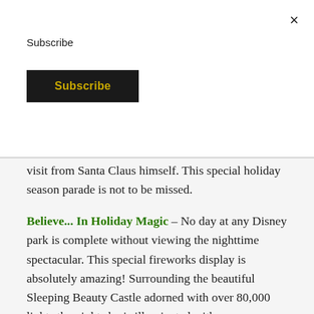Subscribe
Subscribe
visit from Santa Claus himself. This special holiday season parade is not to be missed.
Believe... In Holiday Magic – No day at any Disney park is complete without viewing the nighttime spectacular. This special fireworks display is absolutely amazing! Surrounding the beautiful Sleeping Beauty Castle adorned with over 80,000 lights the night sky is illuminated with a breathtaking fireworks display. A touch of magic also add to the holiday feeling with snow falling all around Main Street during the show.